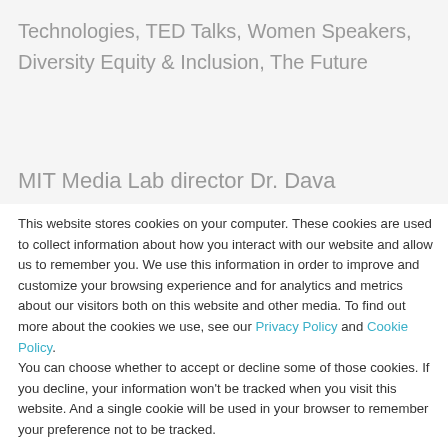Technologies, TED Talks, Women Speakers, Diversity Equity & Inclusion, The Future
MIT Media Lab director Dr. Dava
This website stores cookies on your computer. These cookies are used to collect information about how you interact with our website and allow us to remember you. We use this information in order to improve and customize your browsing experience and for analytics and metrics about our visitors both on this website and other media. To find out more about the cookies we use, see our Privacy Policy and Cookie Policy.
You can choose whether to accept or decline some of those cookies. If you decline, your information won't be tracked when you visit this website. And a single cookie will be used in your browser to remember your preference not to be tracked.
Accept
Decline